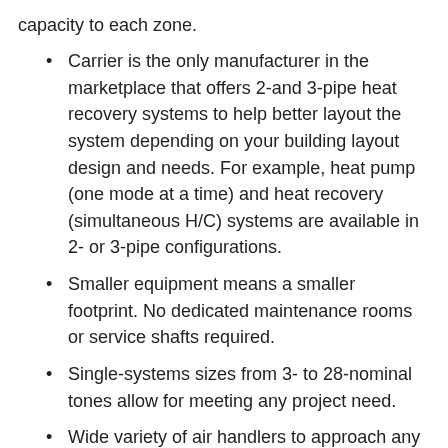capacity to each zone.
Carrier is the only manufacturer in the marketplace that offers 2-and 3-pipe heat recovery systems to help better layout the system depending on your building layout design and needs. For example, heat pump (one mode at a time) and heat recovery (simultaneous H/C) systems are available in 2- or 3-pipe configurations.
Smaller equipment means a smaller footprint. No dedicated maintenance rooms or service shafts required.
Single-systems sizes from 3- to 28-nominal tones allow for meeting any project need.
Wide variety of air handlers to approach any